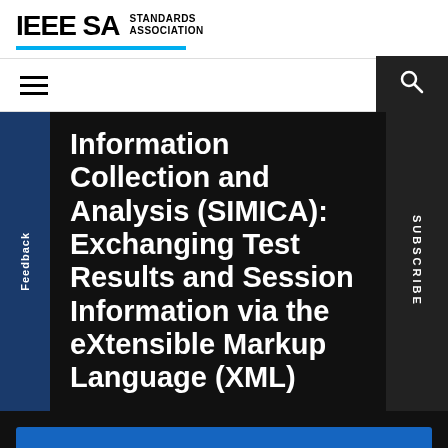IEEE SA STANDARDS ASSOCIATION
Information Collection and Analysis (SIMICA): Exchanging Test Results and Session Information via the eXtensible Markup Language (XML)
Purchase
Access via Subscription